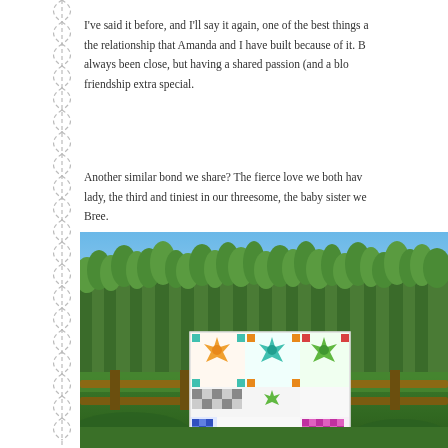[Figure (illustration): Decorative left border with dashed scallop/wave pattern in light gray]
I've said it before, and I'll say it again, one of the best things a... the relationship that Amanda and I have built because of it. B... always been close, but having a shared passion (and a blo... friendship extra special.
Another similar bond we share? The fierce love we both hav... lady, the third and tiniest in our threesome, the baby sister we... Bree.
[Figure (photo): Outdoor photo of a colorful quilt displayed on a wooden fence with tall green trees and blue sky in the background. The quilt features star and geometric patterns in multiple colors including orange, teal, green, blue, and purple.]